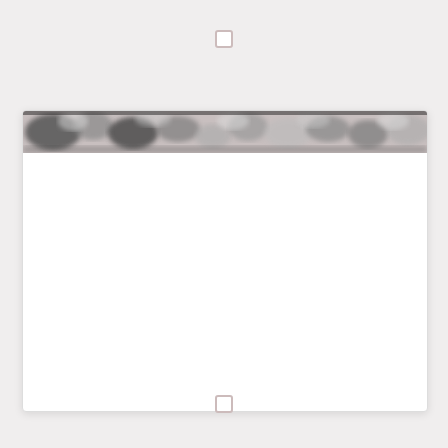[Figure (other): Small square checkbox UI element, top center]
[Figure (other): Small square checkbox UI element, upper center]
[Figure (photo): Card with a narrow black-and-white photo strip at the top showing a blurry crowd or outdoor scene; rest of card is white]
[Figure (other): Small square checkbox UI element, bottom center]